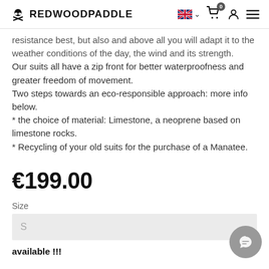REDWOODPADDLE
resistance best, but also and above all you will adapt it to the weather conditions of the day, the wind and its strength.
Our suits all have a zip front for better waterproofness and greater freedom of movement.
Two steps towards an eco-responsible approach: more info below.
* the choice of material: Limestone, a neoprene based on limestone rocks.
* Recycling of your old suits for the purchase of a Manatee.
€199.00
Size
S
available !!!